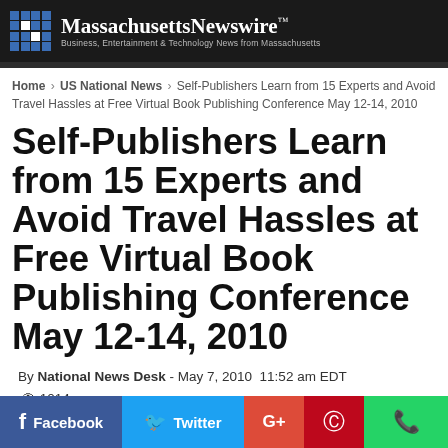Massachusetts Newswire™ — Business, Entertainment & Technology News from Massachusetts
Home › US National News › Self-Publishers Learn from 15 Experts and Avoid Travel Hassles at Free Virtual Book Publishing Conference May 12-14, 2010
Self-Publishers Learn from 15 Experts and Avoid Travel Hassles at Free Virtual Book Publishing Conference May 12-14, 2010
By National News Desk - May 7, 2010  11:52 am EDT  👁 1014